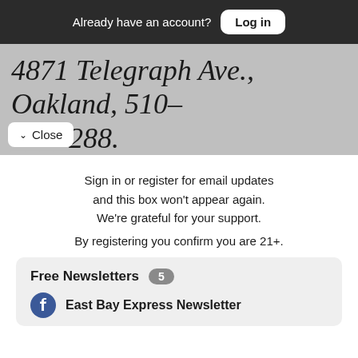Already have an account? Log in
4871 Telegraph Ave., Oakland, 510-288.
Close
Sign in or register for email updates and this box won't appear again. We're grateful for your support.
By registering you confirm you are 21+.
Free Newsletters 5
East Bay Express Newsletter